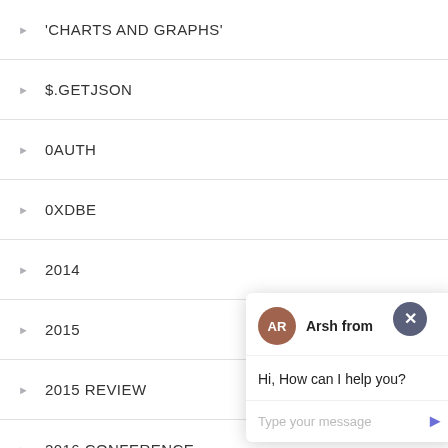'CHARTS AND GRAPHS'
$.GETJSON
0AUTH
0XDBE
2014
2015
2015 REVIEW
2016 CONFERENCE
2017
[Figure (screenshot): Chat widget popup with avatar 'AR' for Arsh, message 'Hi, How can I help you?', text input area with placeholder 'Type your message' and a send arrow button. A close button (x) is at the top-right. A purple chat launcher button is at the bottom-right.]